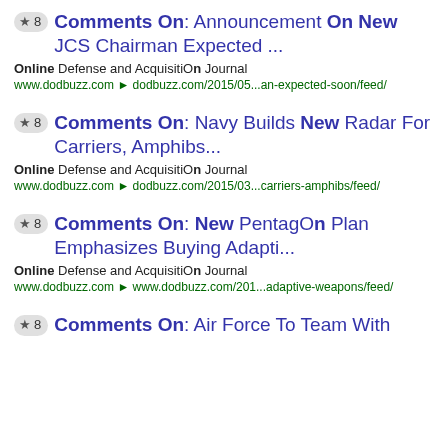★ 8  Comments On: Announcement On New JCS Chairman Expected ... Online Defense and AcquisitiOn Journal www.dodbuzz.com ▶ dodbuzz.com/2015/05...an-expected-soon/feed/
★ 8  Comments On: Navy Builds New Radar For Carriers, Amphibs... Online Defense and AcquisitiOn Journal www.dodbuzz.com ▶ dodbuzz.com/2015/03...carriers-amphibs/feed/
★ 8  Comments On: New Pentagon Plan Emphasizes Buying Adapti... Online Defense and AcquisitiOn Journal www.dodbuzz.com ▶ www.dodbuzz.com/201...adaptive-weapons/feed/
★ 8  Comments On: Air Force To Team With